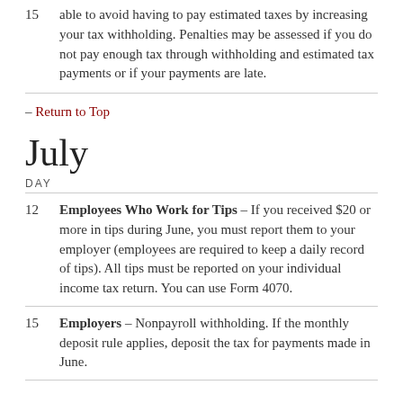15  able to avoid having to pay estimated taxes by increasing your tax withholding. Penalties may be assessed if you do not pay enough tax through withholding and estimated tax payments or if your payments are late.
– Return to Top
July
DAY
12  Employees Who Work for Tips – If you received $20 or more in tips during June, you must report them to your employer (employees are required to keep a daily record of tips). All tips must be reported on your individual income tax return. You can use Form 4070.
15  Employers – Nonpayroll withholding. If the monthly deposit rule applies, deposit the tax for payments made in June.